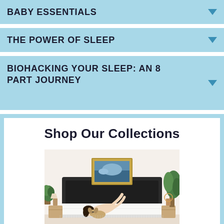BABY ESSENTIALS
THE POWER OF SLEEP
BIOHACKING YOUR SLEEP: AN 8 PART JOURNEY
Shop Our Collections
[Figure (photo): Woman lying on a white mattress on a dark upholstered bed frame, playing with a small dog. A framed ocean painting hangs on the wall above, with plants, nightstands, and lamps on either side.]